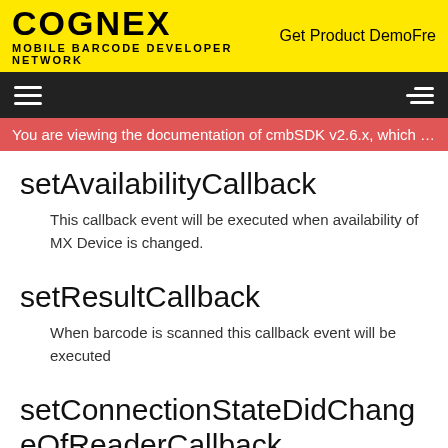COGNEX MOBILE BARCODE DEVELOPER NETWORK | Get Product DemoFre
You are viewing the documentation of cmbSDK v2.6.x, which is no...
setAvailabilityCallback
This callback event will be executed when availability of MX Device is changed.
setResultCallback
When barcode is scanned this callback event will be executed
setConnectionStateDidChangeOfReaderCallback